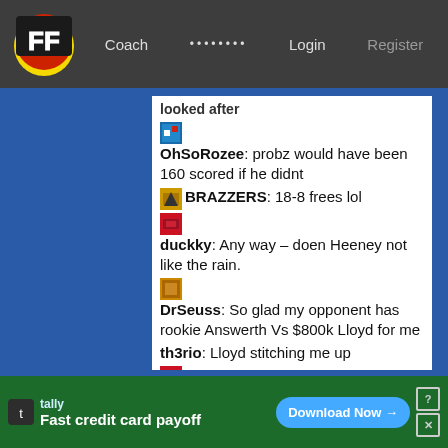FF Coach Login Register
looked after
OhSoRozee: probz would have been 160 scored if he didnt
BRAZZERS: 18-8 frees lol
duckky: Any way – doen Heeney not like the rain.
DrSeuss: So glad my opponent has rookie Answerth Vs $800k Lloyd for me
th3rio: Lloyd stitching me up
duckky: Well Noah is good in the Wet @DrSuess
OhSoRozee: 113 proj lloyd gonna hurt
clay007: Lloyd, good score for a rookie
Gelly: bris 14 behinds, lloyd 14 disposals…
tally Fast credit card payoff Download Now